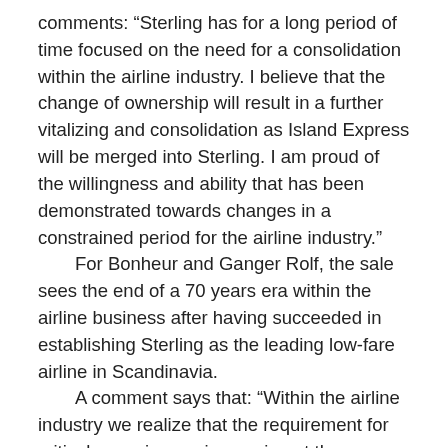comments: “Sterling has for a long period of time focused on the need for a consolidation within the airline industry. I believe that the change of ownership will result in a further vitalizing and consolidation as Island Express will be merged into Sterling. I am proud of the willingness and ability that has been demonstrated towards changes in a constrained period for the airline industry.”
For Bonheur and Ganger Rolf, the sale sees the end of a 70 years era within the airline business after having succeeded in establishing Sterling as the leading low-fare airline in Scandinavia.
A comment says that: “Within the airline industry we realize that the requirement for critical mass is ever increasing at the same time as our companies’ investment strategy do not cater for a further escalation within this sector.”
“Sterling will grow substantially, both in regards